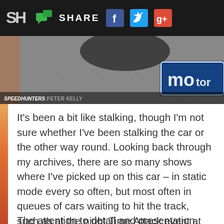SH | SHARE [social icons: Facebook, Twitter, Google+]
[Figure (photo): Close-up photo of a motorsport/car scene on tarmac with a blue and white motor brand sticker/sign visible. Speedhunters watermark with photographer credit Peter Kelly.]
It's been a bit like stalking, though I'm not sure whether I've been stalking the car or the other way round. Looking back through my archives, there are so many shows where I've picked up on this car – in static mode every so often, but most often in queues of cars waiting to hit the track, such as at the night Time Attack event at Brands Hatch last year, where the simple and effective livery really made the car stand out.
The attention to detail and presentation often